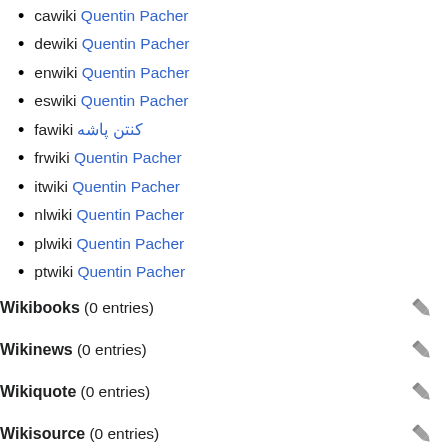cawiki Quentin Pacher
dewiki Quentin Pacher
enwiki Quentin Pacher
eswiki Quentin Pacher
fawiki كنتن پاشه
frwiki Quentin Pacher
itwiki Quentin Pacher
nlwiki Quentin Pacher
plwiki Quentin Pacher
ptwiki Quentin Pacher
Wikibooks  (0 entries)
Wikinews  (0 entries)
Wikiquote  (0 entries)
Wikisource  (0 entries)